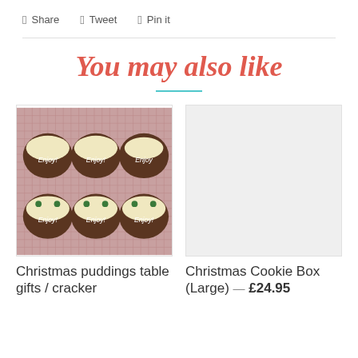Share  Tweet  Pin it
You may also like
[Figure (photo): Six Christmas pudding cookies decorated with white icing and 'Enjoy!' text, arranged on a pink checkered background]
[Figure (photo): Placeholder image for Christmas Cookie Box (Large) product]
Christmas puddings table gifts / cracker
Christmas Cookie Box (Large) — £24.95